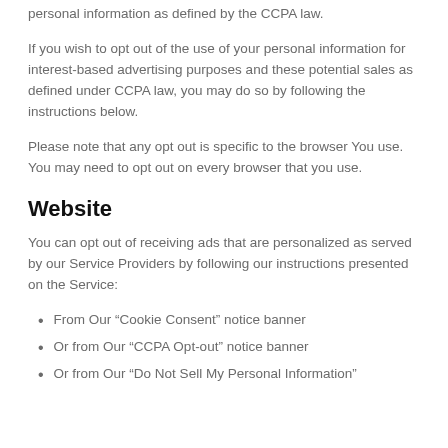personal information as defined by the CCPA law.
If you wish to opt out of the use of your personal information for interest-based advertising purposes and these potential sales as defined under CCPA law, you may do so by following the instructions below.
Please note that any opt out is specific to the browser You use. You may need to opt out on every browser that you use.
Website
You can opt out of receiving ads that are personalized as served by our Service Providers by following our instructions presented on the Service:
From Our “Cookie Consent” notice banner
Or from Our “CCPA Opt-out” notice banner
Or from Our “Do Not Sell My Personal Information”